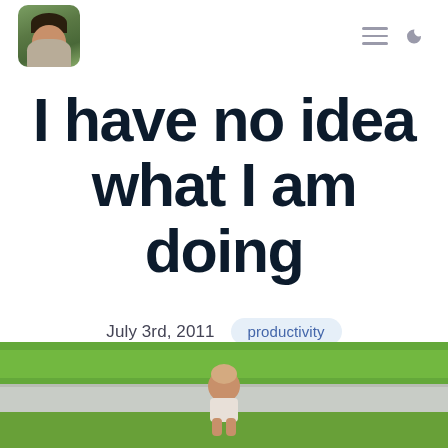[Profile avatar photo, navigation hamburger menu, dark mode toggle]
I have no idea what I am doing
July 3rd, 2011
productivity
[Figure (photo): Baby sitting on a garden path/pavement surrounded by green grass, viewed from behind]